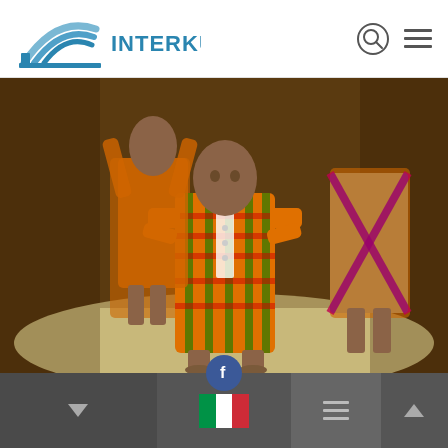[Figure (logo): Interkultur logo with blue arc/bridge graphic and text INTERKULTUR]
[Figure (photo): Group of children/people wearing colorful traditional African kente-style patterned outfits (orange, yellow, green, red) standing barefoot on sandy ground outdoors]
[Figure (screenshot): Website mobile bottom navigation bar with Facebook share button, dropdown arrow, Italian flag language selector, hamburger menu, and scroll-up arrow on dark gray background]